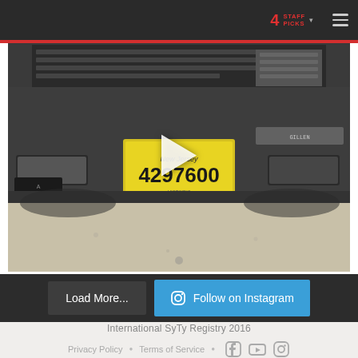[Figure (screenshot): Website screenshot showing a dark navigation bar at top with '4 STAFF PICKS' in red and a hamburger menu icon. Below is a red horizontal stripe. The main content is a photo/video thumbnail of the front bumper of a dark-colored vehicle with a New Jersey license plate reading '4297600', with a play button overlay. Below the image are two buttons: 'Load More...' (dark) and 'Follow on Instagram' (blue with Instagram icon). The bottom section is light gray with footer text.]
4 STAFF PICKS
Load More...
Follow on Instagram
International SyTy Registry 2016
Privacy Policy  •  Terms of Service  •